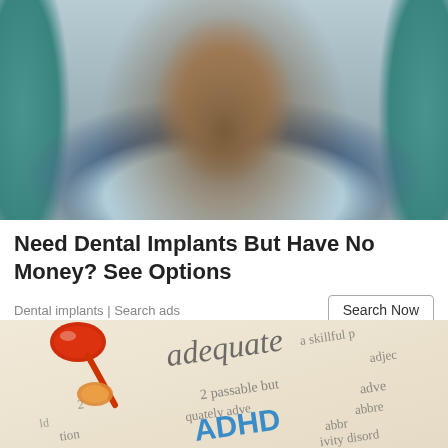[Figure (photo): Woman sitting in a dental chair wearing a dental bib, holding papers, with teal dental equipment visible in the background.]
Need Dental Implants But Have No Money? See Options
Dental implants | Search ads
[Figure (photo): Close-up of a dictionary page showing the word 'adequate' and 'ADHD' highlighted in blue text, with a red pushpin placed on the page.]